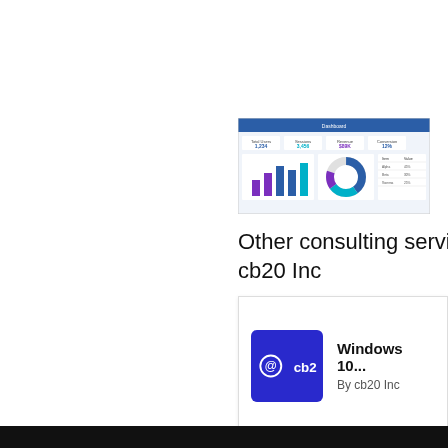[Figure (screenshot): Dashboard screenshot showing analytics charts including bar charts and a donut chart with various KPI metrics in a web application interface]
Other consulting services from cb20 Inc
[Figure (logo): cb20 Inc logo — dark blue square with white circular icon and 'cb20' text]
Windows 10...
By cb20 Inc